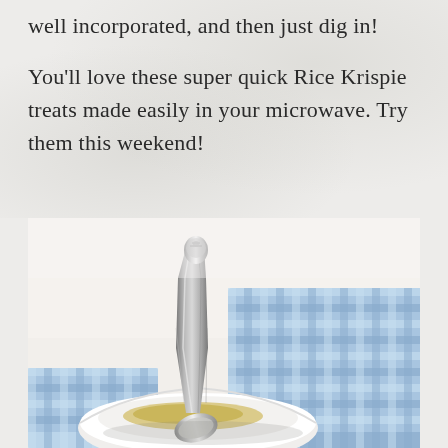well incorporated, and then just dig in!
You'll love these super quick Rice Krispie treats made easily in your microwave. Try them this weekend!
[Figure (photo): Close-up photo of a decorative silver spoon resting in a white bowl, with a blue and white gingham checkered cloth napkin in the background. The spoon has an ornate crown/crest design on the handle. The bowl appears to contain food (possibly Rice Krispie treats).]